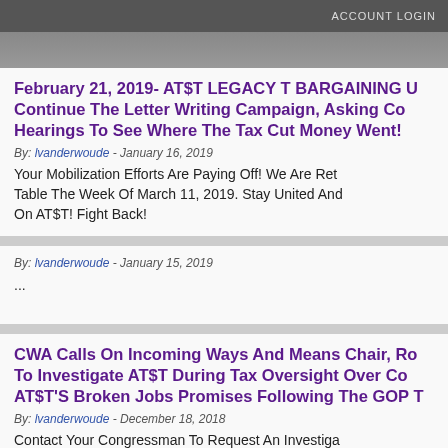ACCOUNT LOGIN
February 21, 2019- AT$T LEGACY T BARGAINING U Continue The Letter Writing Campaign, Asking Co Hearings To See Where The Tax Cut Money Went!
By: lvanderwoude - January 16, 2019
Your Mobilization Efforts Are Paying Off! We Are Ret Table The Week Of March 11, 2019. Stay United And On AT$T! Fight Back!
By: lvanderwoude - January 15, 2019
...
CWA Calls On Incoming Ways And Means Chair, Ro To Investigate AT$T During Tax Oversight Over Co AT$T'S Broken Jobs Promises Following The GOP T
By: lvanderwoude - December 18, 2018
Contact Your Congressman To Request An Investiga